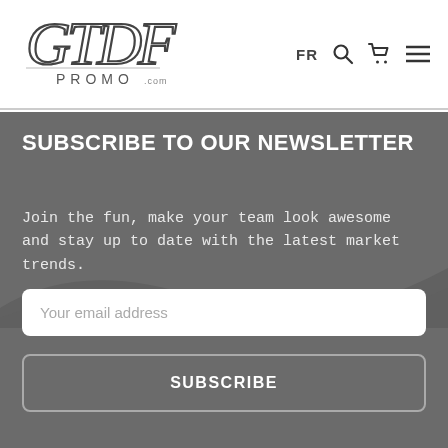[Figure (logo): GTDF PROMO .com handwritten script logo]
FR [search icon] [cart icon] [menu icon]
SUBSCRIBE TO OUR NEWSLETTER
Join the fun, make your team look awesome and stay up to date with the latest market trends.
Your email address
SUBSCRIBE